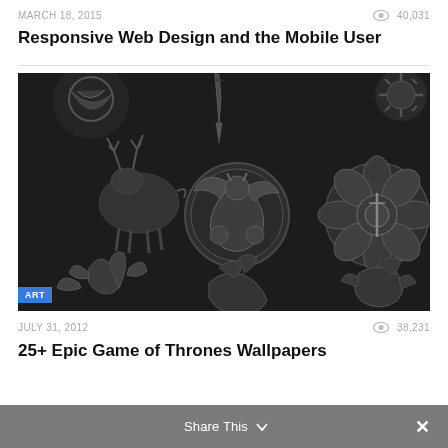MARCH 18, 2015 · 40,031 views
Responsive Web Design and the Mobile User
[Figure (photo): Dark metallic Game of Thrones house sigils (Baratheon stag, Targaryen dragon, Tyrell rose, and others) embossed in silver/chrome relief on a dark background. ART badge in lower-left corner.]
JULY 31, 2012 · 38,231 views
25+ Epic Game of Thrones Wallpapers
Share This ∨  ✕